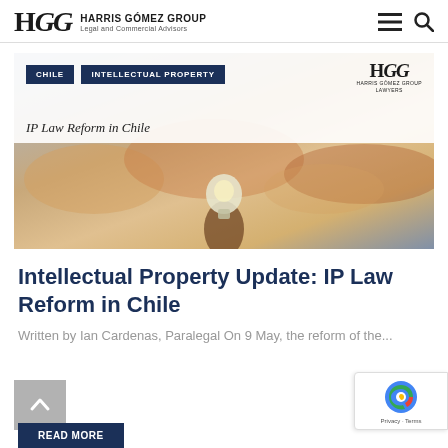HGG HARRIS GÓMEZ GROUP Legal and Commercial Advisors
[Figure (photo): Banner image showing IP Law Reform in Chile with tags CHILE and INTELLECTUAL PROPERTY, HGG logo, and a hand holding a light bulb against a sunset sky background]
Intellectual Property Update: IP Law Reform in Chile
Written by Ian Cardenas, Paralegal On 9 May, the reform of the...